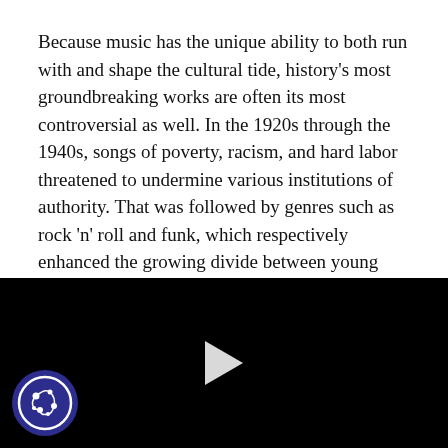Because music has the unique ability to both run with and shape the cultural tide, history's most groundbreaking works are often its most controversial as well. In the 1920s through the 1940s, songs of poverty, racism, and hard labor threatened to undermine various institutions of authority. That was followed by genres such as rock 'n' roll and funk, which respectively enhanced the growing divide between young and older generations. Jump ahead decades and popular music is still influencing fashion statements, attitudes, and perspectives alike, sometimes within the same hit single. And someone is almost always angry about it.
Today, Stacker celebrates history's most boundary-pushing—and
[Figure (other): Black video player area with a white play button triangle centered, and a cookie consent icon in the bottom-left corner.]